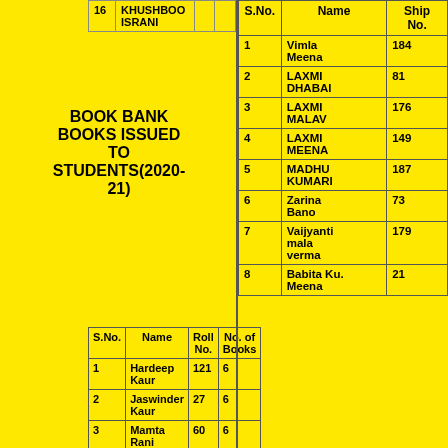| S.No. | Name |  |  |
| --- | --- | --- | --- |
| 16 | KHUSHBOO ISRANI |  |  |
BOOK BANK BOOKS ISSUED TO STUDENTS(2020-21)
| S.No. | Name | Roll No. | No. of Books |
| --- | --- | --- | --- |
| 1 | Hardeep Kaur | 121 | 6 |
| 2 | Jaswinder Kaur | 27 | 6 |
| 3 | Mamta Rani | 60 | 6 |
| 4 | Pushpa Rani | 75 | 5 |
| S.No. | Name | Ship No. |
| --- | --- | --- |
| 1 | Vimla Meena | 184 |
| 2 | LAXMI DHABAI | 81 |
| 3 | LAXMI MALAV | 176 |
| 4 | LAXMI MEENA | 149 |
| 5 | MADHU KUMARI | 187 |
| 6 | Zarina Bano | 73 |
| 7 | Vaijyanti mala verma | 179 |
| 8 | Babita Ku. Meena | 21 |